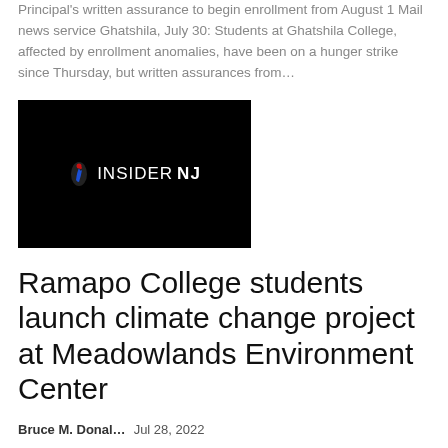Principal's written assurance to begin enrollment from August 1 Mail news service Ghatshila, July 30: Students at Ghatshila College, affected by enrollment anomalies, have been on a hunger strike since Thursday, but written assurances from...
[Figure (logo): Insider NJ logo — white text on black background with a small flame/person icon]
Ramapo College students launch climate change project at Meadowlands Environment Center
Bruce M. Donal...   Jul 28, 2022